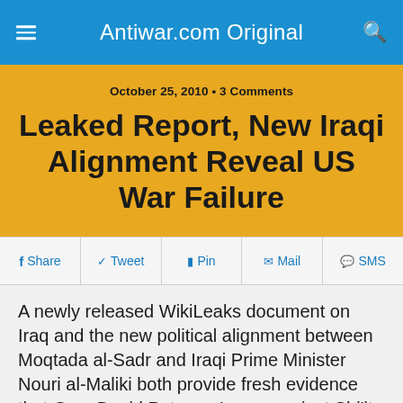Antiwar.com Original
October 25, 2010 • 3 Comments
Leaked Report, New Iraqi Alignment Reveal US War Failure
Share  Tweet  Pin  Mail  SMS
A newly released WikiLeaks document on Iraq and the new political alignment between Moqtada al-Sadr and Iraqi Prime Minister Nouri al-Maliki both provide fresh evidence that Gen. David Petraeus's war against Shi'ite militias in 2007-2008 was a futile exercise.